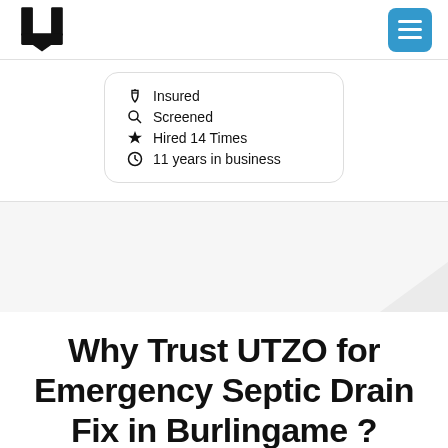[Figure (logo): UTZO logo - stylized U shape in black]
Insured
Screened
Hired 14 Times
11 years in business
[Figure (illustration): Gray diagonal stripe background pattern]
Why Trust UTZO for Emergency Septic Drain Fix in Burlingame ?